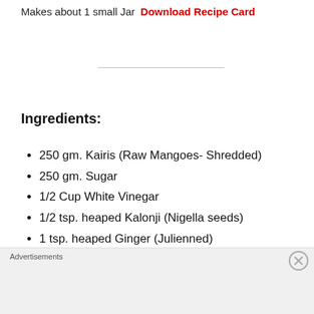Makes about 1 small Jar  Download Recipe Card
Ingredients:
250 gm. Kairis (Raw Mangoes- Shredded)
250 gm. Sugar
1/2 Cup White Vinegar
1/2 tsp. heaped Kalonji (Nigella seeds)
1 tsp. heaped Ginger (Julienned)
1 tsp. heaped Garlic (Chopped roughly)
1/2 tsp. heaped Zeera (Cumin seeds)
3-4 Whole Dried Red Chilies (Chopped
Advertisements